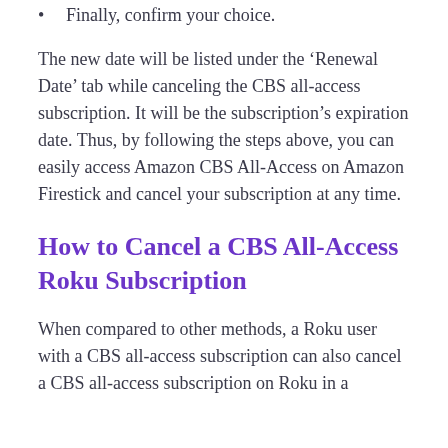Finally, confirm your choice.
The new date will be listed under the ‘Renewal Date’ tab while canceling the CBS all-access subscription. It will be the subscription’s expiration date. Thus, by following the steps above, you can easily access Amazon CBS All-Access on Amazon Firestick and cancel your subscription at any time.
How to Cancel a CBS All-Access Roku Subscription
When compared to other methods, a Roku user with a CBS all-access subscription can also cancel a CBS all-access subscription on Roku in a